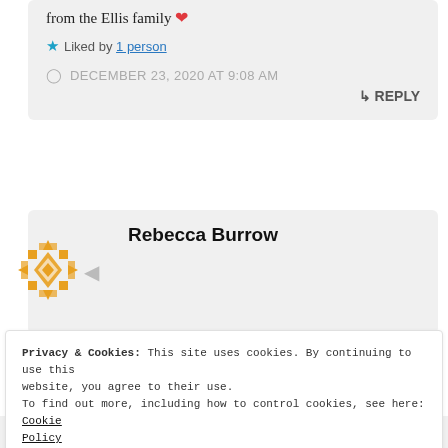from the Ellis family ❤
★ Liked by 1 person
DECEMBER 23, 2020 AT 9:08 AM
↳ REPLY
Rebecca Burrow
Privacy & Cookies: This site uses cookies. By continuing to use this website, you agree to their use.
To find out more, including how to control cookies, see here: Cookie Policy
Close and accept
medical care. I am proud